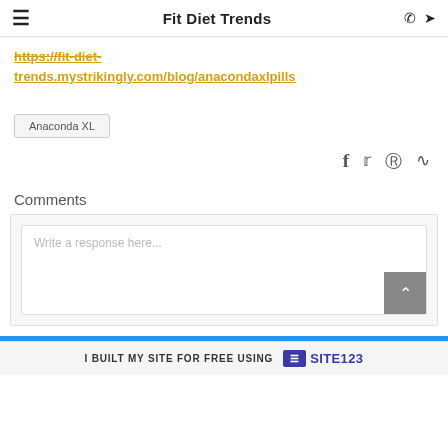Fit Diet Trends
https://fit-diet-trends.mystrikingly.com/blog/anacondaxlpills
Anaconda XL
Comments
Write a response here...
I BUILT MY SITE FOR FREE USING SITE123